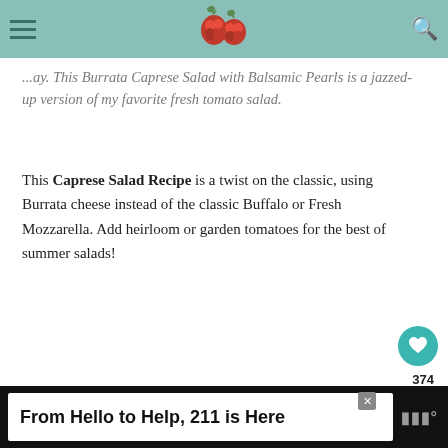Navigation bar with hamburger menu, raspberry logo, and search icon
...ay. This Burrata Caprese Salad with Balsamic Pearls is a jazzed-up version of my favorite fresh tomato salad.
This Caprese Salad Recipe is a twist on the classic, using Burrata cheese instead of the classic Buffalo or Fresh Mozzarella. Add heirloom or garden tomatoes for the best of summer salads!
[Figure (photo): Dark moody food photography showing a bowl with salad ingredients on a dark cloth background, with a red cherry tomato visible in the foreground]
374
WHAT'S NEXT → Roasted Asparagus...
From Hello to Help, 211 is Here